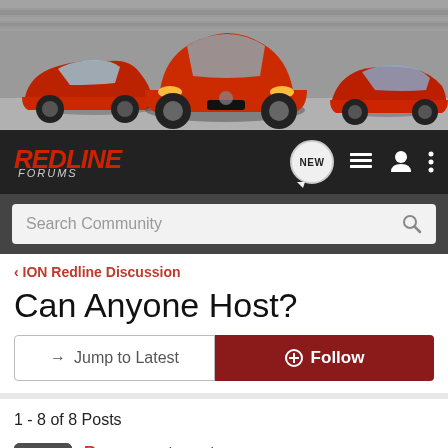[Figure (photo): Red Saturn sports cars lineup photo banner at top of forum page]
RedLine FORUMS - navigation bar with NEW chat badge, list icon, user icon, menu icon
Search Community
< ION Redline Discussion
Can Anyone Host?
→ Jump to Latest   + Follow
1 - 8 of 8 Posts
Barry · Registered
Joined Jul 5, 2004 · 307 Posts